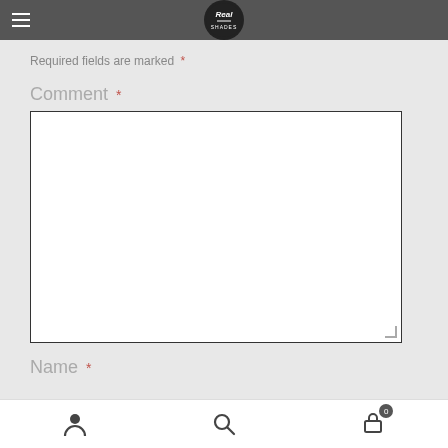Real Shades (logo/nav bar)
Required fields are marked *
Comment *
[Figure (other): Empty comment text area input box with resize handle]
Name *
Bottom navigation bar with person icon, search icon, and cart icon (badge: 0)